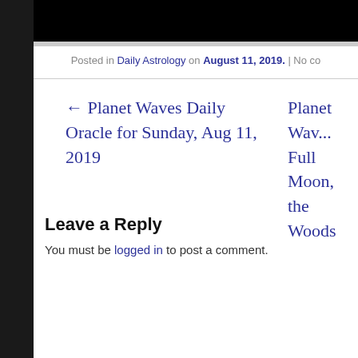[Figure (photo): Black image bar at the top of the page with gray border at bottom]
Posted in Daily Astrology on August 11, 2019. | No co
← Planet Waves Daily Oracle for Sunday, Aug 11, 2019
Planet Wav... Full Moon, ... the Woods...
Leave a Reply
You must be logged in to post a comment.